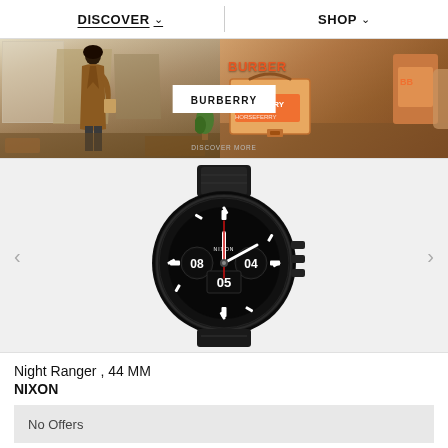DISCOVER   SHOP
[Figure (photo): Burberry banner showing a fashion campaign with a woman in brown coat on the left and Burberry branded bags/products on the right, with a white BURBERRY label overlay and DISCOVER MORE text]
[Figure (photo): Black Nixon Night Ranger 44MM watch with black dial showing chronograph subdials, red second hand, and black metal bracelet, displayed on light grey background with left/right navigation arrows]
Night Ranger , 44 MM
NIXON
No Offers